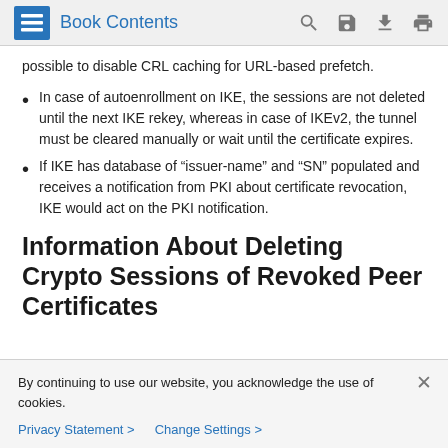Book Contents
possible to disable CRL caching for URL-based prefetch.
In case of autoenrollment on IKE, the sessions are not deleted until the next IKE rekey, whereas in case of IKEv2, the tunnel must be cleared manually or wait until the certificate expires.
If IKE has database of “issuer-name” and “SN” populated and receives a notification from PKI about certificate revocation, IKE would act on the PKI notification.
Information About Deleting Crypto Sessions of Revoked Peer Certificates
By continuing to use our website, you acknowledge the use of cookies.
Privacy Statement > Change Settings >